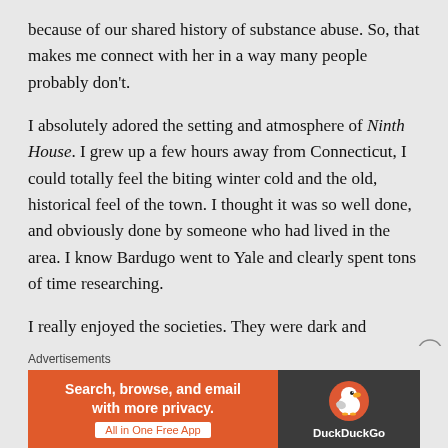because of our shared history of substance abuse. So, that makes me connect with her in a way many people probably don't.
I absolutely adored the setting and atmosphere of Ninth House. I grew up a few hours away from Connecticut, I could totally feel the biting winter cold and the old, historical feel of the town. I thought it was so well done, and obviously done by someone who had lived in the area. I know Bardugo went to Yale and clearly spent tons of time researching.
I really enjoyed the societies. They were dark and magical and infuriating. I think this story is told by Alex, an outsider, gave the whole story an interesting perspective. She wasn't just another rich kid being a
Advertisements
[Figure (other): DuckDuckGo advertisement banner: orange left panel with text 'Search, browse, and email with more privacy. All in One Free App' and dark right panel with DuckDuckGo duck logo and brand name.]